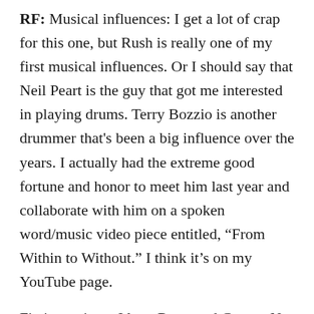RF: Musical influences: I get a lot of crap for this one, but Rush is really one of my first musical influences. Or I should say that Neil Peart is the guy that got me interested in playing drums. Terry Bozzio is another drummer that's been a big influence over the years. I actually had the extreme good fortune and honor to meet him last year and collaborate with him on a spoken word/music video piece entitled, “From Within to Without.” I think it’s on my YouTube page.
Fiction writers: I love Raymond Carver. Not so much because I feel like I write like him. Mainly